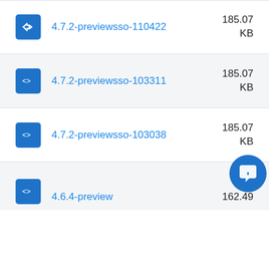4.7.2-previewsso-110422 185.07 KB
4.7.2-previewsso-103311 185.07 KB
4.7.2-previewsso-103038 185.07 KB
4.6.4-preview 162.49